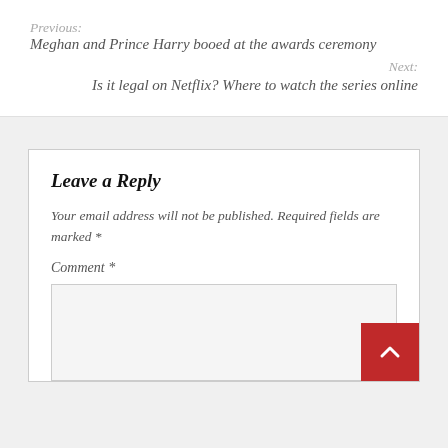Previous:
Meghan and Prince Harry booed at the awards ceremony
Next:
Is it legal on Netflix? Where to watch the series online
Leave a Reply
Your email address will not be published. Required fields are marked *
Comment *